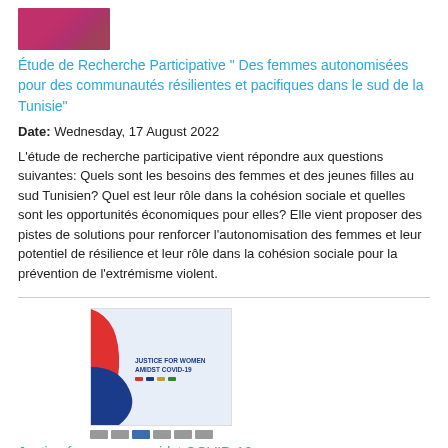[Figure (photo): Small purple/pink image at top, likely a report cover thumbnail]
Étude de Recherche Participative " Des femmes autonomisées pour des communautés résilientes et pacifiques dans le sud de la Tunisie"
Date: Wednesday, 17 August 2022
L'étude de recherche participative vient répondre aux questions suivantes: Quels sont les besoins des femmes et des jeunes filles au sud Tunisien? Quel est leur rôle dans la cohésion sociale et quelles sont les opportunités économiques pour elles? Elle vient proposer des pistes de solutions pour renforcer l'autonomisation des femmes et leur potentiel de résilience et leur rôle dans la cohésion sociale pour la prévention de l'extrémisme violent.
[Figure (photo): Report cover image showing 'Justice for women amidst COVID-19' with red and blue abstract shapes]
[Figure (logo): Row of organization logos below the report cover]
Justice for women amidst COVID-19
Date: Thursday, 21 May 2020